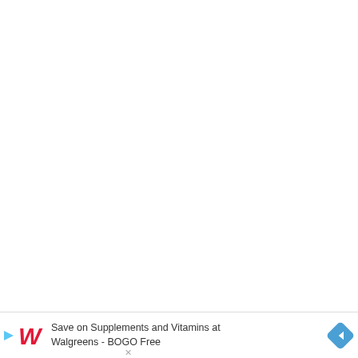[Figure (other): Blank white area — main page content area (no visible content)]
Save on Supplements and Vitamins at Walgreens - BOGO Free